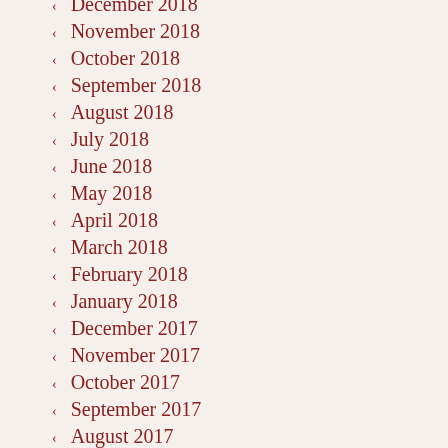December 2018
November 2018
October 2018
September 2018
August 2018
July 2018
June 2018
May 2018
April 2018
March 2018
February 2018
January 2018
December 2017
November 2017
October 2017
September 2017
August 2017
July 2017